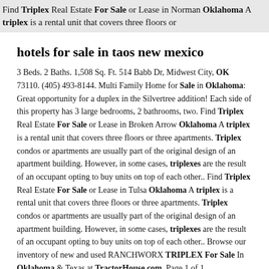Find Triplex Real Estate For Sale or Lease in Norman Oklahoma A triplex is a rental unit that covers three floors or
hotels for sale in taos new mexico
3 Beds. 2 Baths. 1,508 Sq. Ft. 514 Babb Dr, Midwest City, OK 73110. (405) 493-8144. Multi Family Home for Sale in Oklahoma: Great opportunity for a duplex in the Silvertree addition! Each side of this property has 3 large bedrooms, 2 bathrooms, two. Find Triplex Real Estate For Sale or Lease in Broken Arrow Oklahoma A triplex is a rental unit that covers three floors or three apartments. Triplex condos or apartments are usually part of the original design of an apartment building. However, in some cases, triplexes are the result of an occupant opting to buy units on top of each other.. Find Triplex Real Estate For Sale or Lease in Tulsa Oklahoma A triplex is a rental unit that covers three floors or three apartments. Triplex condos or apartments are usually part of the original design of an apartment building. However, in some cases, triplexes are the result of an occupant opting to buy units on top of each other.. Browse our inventory of new and used RANCHWORX TRIPLEX For Sale In Oklahoma & Texas at TractorHouse.com. Page 1 of 1..
genesis gv70 red